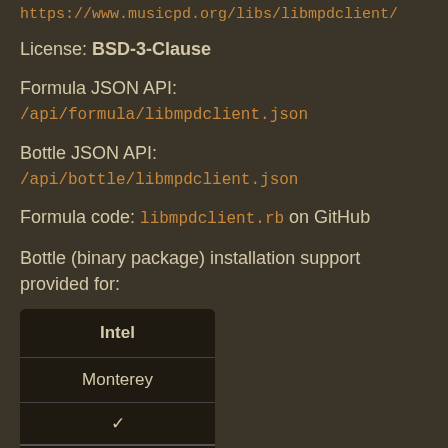https://www.musicpd.org/libs/libmpdclient/
License: BSD-3-Clause
Formula JSON API:
/api/formula/libmpdclient.json
Bottle JSON API: /api/bottle/libmpdclient.json
Formula code: libmpdclient.rb on GitHub
Bottle (binary package) installation support provided for:
| Intel |
| --- |
| Monterey |
| ✓ |
| Big Sur |